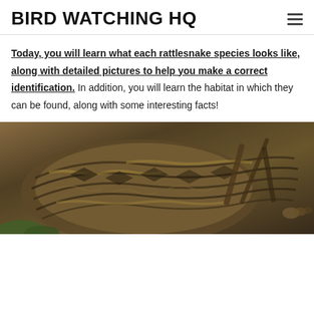BIRD WATCHING HQ
Today, you will learn what each rattlesnake species looks like, along with detailed pictures to help you make a correct identification. In addition, you will learn the habitat in which they can be found, along with some interesting facts!
[Figure (photo): Close-up photograph of a rattlesnake coiled up, showing its distinctive patterned scales in brown, tan, and black, with woody sticks visible in the background.]